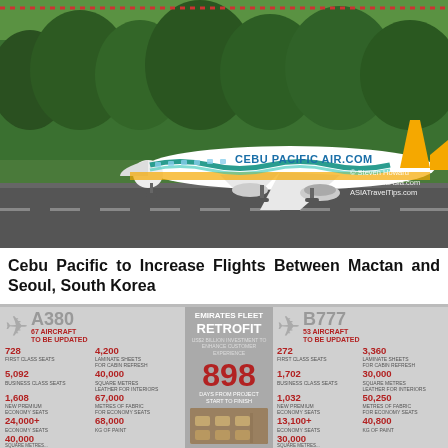[Figure (photo): Cebu Pacific Air airplane on runway, yellow and white Airbus A320 with CEBU PACIFIC AIR.COM livery, on tarmac surrounded by green trees. Photo credit: Steven Howard, TravelNewsAsia.com, ASIATravelTips.com]
Cebu Pacific to Increase Flights Between Mactan and Seoul, South Korea
[Figure (infographic): Emirates Fleet Retrofit infographic. Left: A380 - 67 aircraft to be updated. Stats: 728 First Class Seats, 5,092 Business Class Seats, 1,608 New Premium Economy Seats, 24,000+ Economy Seats, 4,200 Laminate Sheets for Cabin Refresh, 40,000 Square Metres Leather for Interiors, 67,000 Metres of Fabric for Economy Seats, 68,000 KG of Paint. Center: Emirates Fleet Retrofit, US$2 Billion Investment to Enhance Customer Experience, 898 Days from Project Start to Finish. Right: B777 - 53 aircraft to be updated. Stats: 272 First Class Seats, 1,702 Business Class Seats, 1,032 New Premium Economy Seats, 13,100+ Economy Seats, 3,360 Laminate Sheets for Cabin Refresh, 30,000 Square Metres Leather for Interiors, 50,250 Metres of Fabric for Economy Seats, 40,800 KG of Paint.]